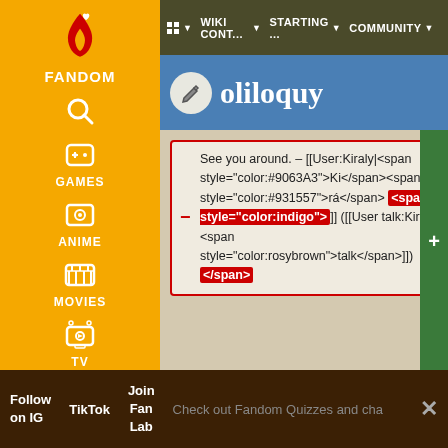FANDOM | WIKI CONT... | STARTING ... | COMMUNITY
n [edit icon] oliloquy
See you around. – [[User:Kiraly|<span style="color:#9063A3">Ki</span><span style="color:#931557">rá</span> <span style="color:indigo">]] ([[User talk:Kiraly|<span style="color:rosybrown">talk</span>]]) </span>
*''"K"'' is for krazy, Extra special crazy because it has a K.
Line 19:
Lin
Follow on IG   TikTok   Join Fan Lab   Check out Fandom Quizzes and cha   ×
[http://www.themeaningofnames.org/